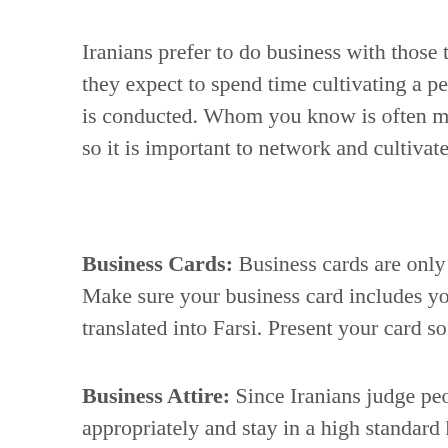Iranians prefer to do business with those they know and trust; they expect to spend time cultivating a personal relationship before business is conducted. Whom you know is often more important than what you know, so it is important to network and cultivate a number of contacts.
Business Cards: Business cards are only exchanged by men with men. Make sure your business card includes your title and has one side translated into Farsi. Present your card so the Farsi side faces the recipient.
Business Attire: Since Iranians judge people on appearance, dress appropriately and stay in a high standard hotel. Business dress is conservative. Men should wear dark colored conservative suits. Women should always dress modestly and cover their hair.